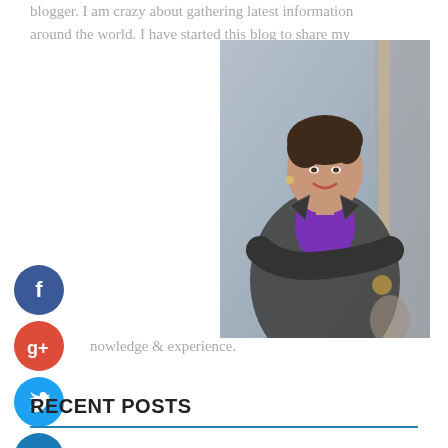blogger. I am crazy about gathering latest information around the world. I have started this blog to share my
[Figure (photo): Professional woman in a gray blazer and purple shirt, arms crossed, smiling, standing near an ornate doorway]
nowledge & experience.
[Figure (other): Facebook social share icon - blue circle with white F]
[Figure (other): Google Plus social share icon - red circle with white G+]
[Figure (other): Twitter social share icon - blue circle with white bird]
[Figure (other): Add/plus social share icon - dark blue circle with white plus]
RECENT POSTS